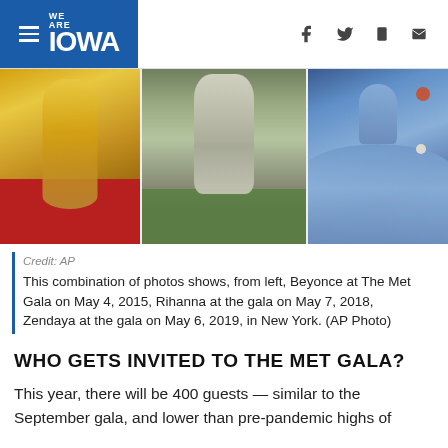WE ARE IOWA
[Figure (photo): Three-panel photo strip showing celebrity fashion at Met Gala: left panel shows Beyonce in gold gown on red carpet, center panel shows Rihanna in silver/white embellished outfit, right panel shows Zendaya in a blue ballgown.]
Credit: AP
This combination of photos shows, from left, Beyonce at The Met Gala on May 4, 2015, Rihanna at the gala on May 7, 2018, Zendaya at the gala on May 6, 2019, in New York. (AP Photo)
WHO GETS INVITED TO THE MET GALA?
This year, there will be 400 guests — similar to the September gala, and lower than pre-pandemic highs of